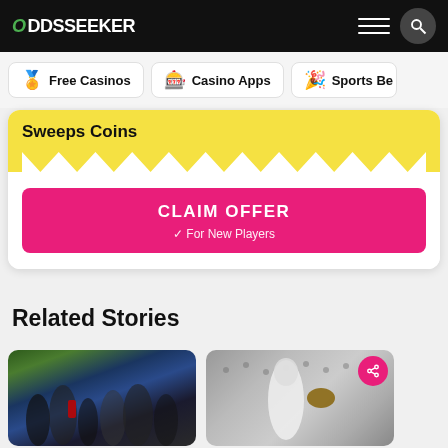ODDSSEEKER
Free Casinos
Casino Apps
Sports Be...
Sweeps Coins
CLAIM OFFER ✓ For New Players
Related Stories
[Figure (photo): Football field press conference scene with cameras and crowd]
[Figure (photo): Baseball player in white uniform throwing or fielding]